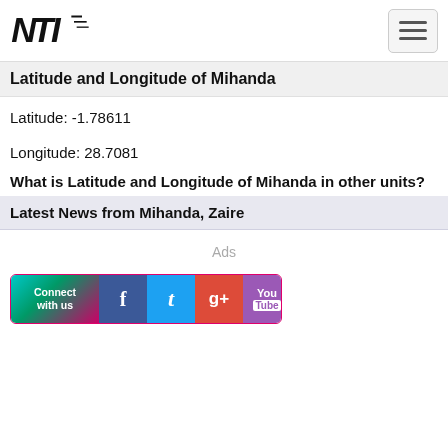NTI logo and navigation menu
Latitude and Longitude of Mihanda
Latitude: -1.78611
Longitude: 28.7081
What is Latitude and Longitude of Mihanda in other units?
Latest News from Mihanda, Zaire
Ads
[Figure (infographic): Connect with us social media banner with Facebook, Twitter, Google+, and YouTube icons]